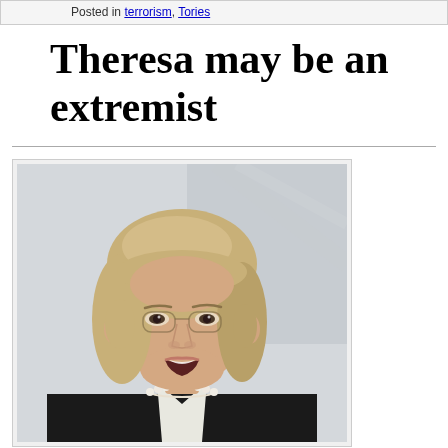Posted in terrorism, Tories
Theresa may be an extremist
[Figure (photo): Photo of a woman with blonde bob haircut, wearing a black blazer and pearl necklace, speaking with mouth open, against a light background]